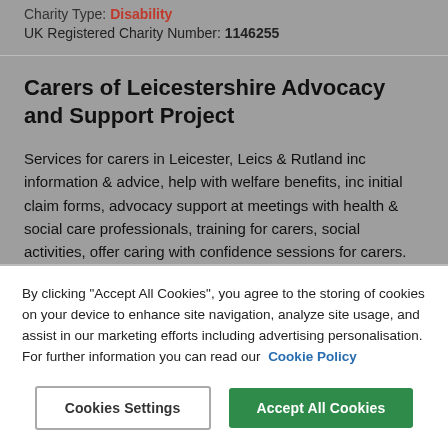Charity Type: Disability
UK Registered Charity Number: 1146255
Carers of Leicestershire Advocacy and Support Project
Services for carers in Leicester, Leics & Rutland inc information & advice, help with welfare benefits, inc initial claim forms, advocacy support at meetings with health & social care professionals, training for carers, social activities, offer caring with confidence sessions for carers. Advice information and training for carers of anyone with...
By clicking "Accept All Cookies", you agree to the storing of cookies on your device to enhance site navigation, analyze site usage, and assist in our marketing efforts including advertising personalisation. For further information you can read our Cookie Policy
Cookies Settings
Accept All Cookies